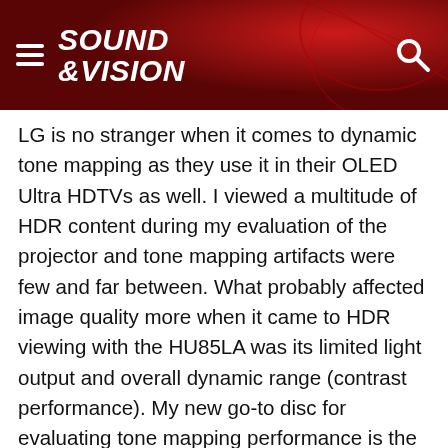SOUND & VISION
LG is no stranger when it comes to dynamic tone mapping as they use it in their OLED Ultra HDTVs as well. I viewed a multitude of HDR content during my evaluation of the projector and tone mapping artifacts were few and far between. What probably affected image quality more when it came to HDR viewing with the HU85LA was its limited light output and overall dynamic range (contrast performance). My new go-to disc for evaluating tone mapping performance is the 4K Ultra HD Benchmark Disc from Spears & Munsil. When viewing the disc's demonstration montage, The LG performed well throughout most of the segments, but clipping could be seen in some material and the projector's limited